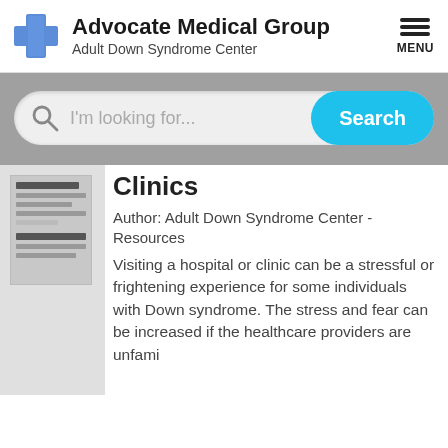[Figure (logo): Advocate Medical Group logo with blue cross and text]
Advocate Medical Group
Adult Down Syndrome Center
[Figure (screenshot): Search bar with placeholder 'I'm looking for...' and cyan Search button]
Clinics
Author: Adult Down Syndrome Center - Resources
Visiting a hospital or clinic can be a stressful or frightening experience for some individuals with Down syndrome. The stress and fear can be increased if the healthcare providers are unfami